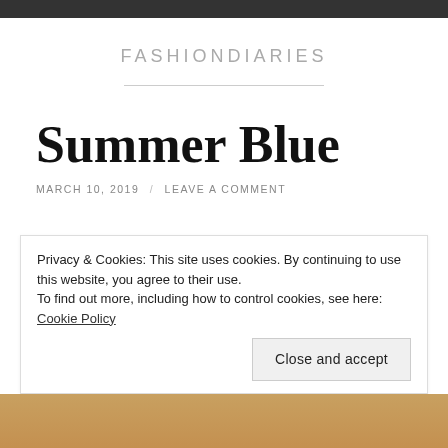FASHIONDIARIES
Summer Blue
MARCH 10, 2019 / LEAVE A COMMENT
Privacy & Cookies: This site uses cookies. By continuing to use this website, you agree to their use.
To find out more, including how to control cookies, see here: Cookie Policy
Close and accept